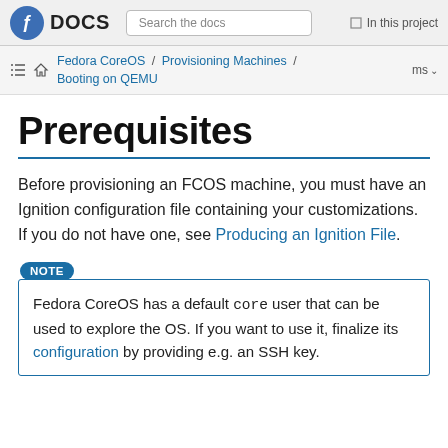Fedora DOCS | Search the docs | In this project
Fedora CoreOS / Provisioning Machines / Booting on QEMU | ms
Prerequisites
Before provisioning an FCOS machine, you must have an Ignition configuration file containing your customizations. If you do not have one, see Producing an Ignition File.
NOTE
Fedora CoreOS has a default core user that can be used to explore the OS. If you want to use it, finalize its configuration by providing e.g. an SSH key.